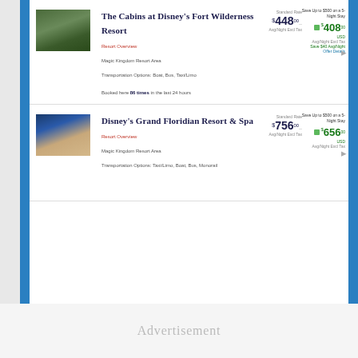The Cabins at Disney's Fort Wilderness Resort
Resort Overview
Magic Kingdom Resort Area
Transportation Options: Boat, Bus, Taxi/Limo
Booked here 86 times in the last 24 hours
Standard Rate $448.00 Avg/Night Excl Tax
Save Up to $500 on a 5-Night Stay $408.00 USD Avg/Night Excl Tax Save $40 Avg/Night Offer Details
Disney's Grand Floridian Resort & Spa
Resort Overview
Magic Kingdom Resort Area
Transportation Options: Taxi/Limo, Boat, Bus, Monorail
Standard Rate $756.00 Avg/Night Excl Tax
Save Up to $500 on a 5-Night Stay $656.00 USD Avg/Night Excl Tax
Advertisement